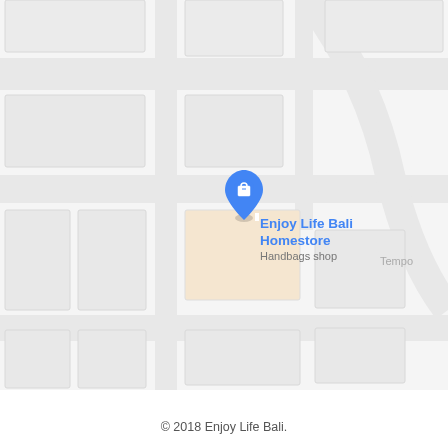[Figure (map): Google Maps screenshot showing the location of Enjoy Life Bali Homestore (a handbags shop) marked with a blue map pin icon in a residential street area. The map shows buildings as light gray rectangles on a white/light gray background with road outlines. A road label 'Tempo' is partially visible on the right side.]
© 2018 Enjoy Life Bali.